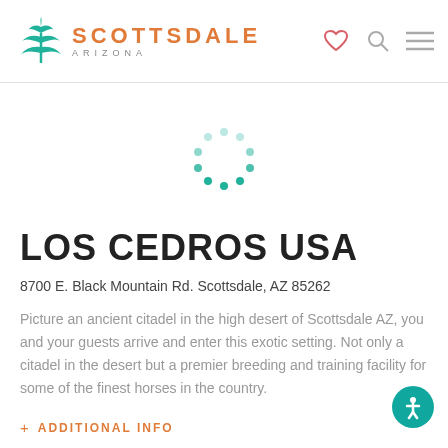[Figure (logo): Scottsdale Arizona logo with green agave/cactus plant icon and orange SCOTTSDALE text with gray ARIZONA subtitle]
[Figure (other): Loading spinner dots arranged in a circle, teal/green colored]
LOS CEDROS USA
8700 E. Black Mountain Rd. Scottsdale, AZ 85262
Picture an ancient citadel in the high desert of Scottsdale AZ, you and your guests arrive and enter this exotic setting. Not only a citadel in the desert but a premier breeding and training facility for some of the finest horses in the country.
+ ADDITIONAL INFO